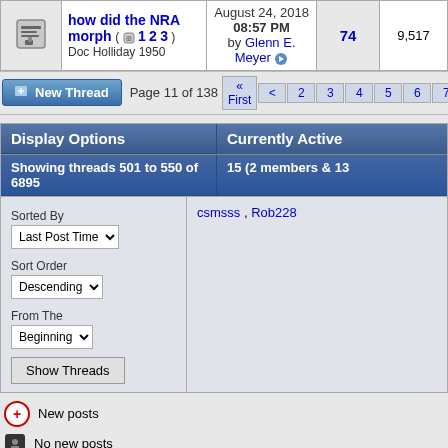|  | Thread | Last Post | Replies | Views |
| --- | --- | --- | --- | --- |
| [icon] | how did the NRA morph (1 2 3)
Doc Holliday 1950 | August 24, 2018 08:57 PM by Glenn E. Meyer | 74 | 9,517 |
Page 11 of 138  « First  <  2  3  4  5  6  7  8  9  10  11  12
Display Options
Showing threads 501 to 550 of 6895
Sorted By: Last Post Time | Sort Order: Descending | From The: Beginning
Currently Active
15 (2 members & 13
csmsss , Rob228
New posts
No new posts
Thread is closed
Posting Rules
You may not post new threads
You may not post replies
You may not post attachments
You may not edit your posts
BB code is On
Smilies are On
[IMG] code is On